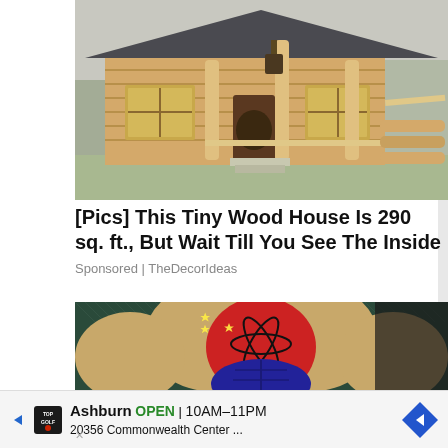[Figure (photo): Exterior photo of a small log cabin house with wooden logs, a covered porch with railings, lantern hanging from the eave, and yellow-framed windows. Snow visible in the background.]
[Pics] This Tiny Wood House Is 290 sq. ft., But Wait Till You See The Inside
Sponsored | TheDecorIdeas
[Figure (illustration): Comic book style illustration of an extremely muscular superhero torso in red and blue costume with glowing energy effects and sparkle highlights on the massive muscles.]
Ashburn OPEN 10AM–11PM 20356 Commonwealth Center ...